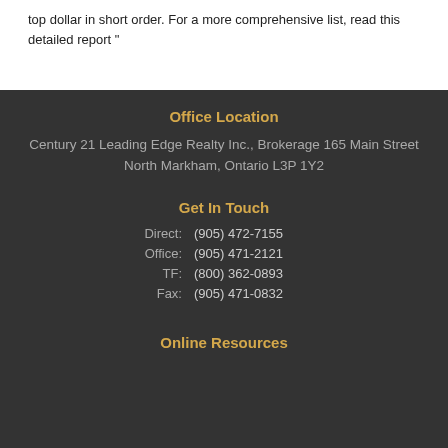top dollar in short order. For a more comprehensive list, read this detailed report "
Office Location
Century 21 Leading Edge Realty Inc., Brokerage 165 Main Street North Markham, Ontario L3P 1Y2
Get In Touch
Direct:   (905) 472-7155
Office:   (905) 471-2121
TF:       (800) 362-0893
Fax:      (905) 471-0832
Online Resources